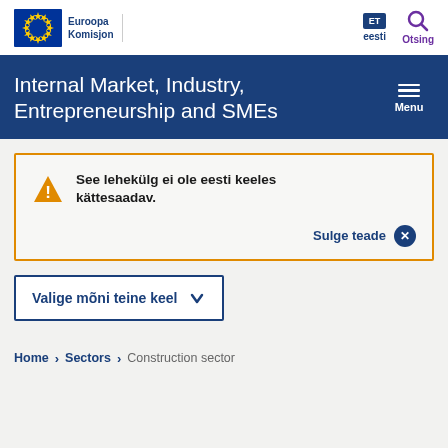Euroopa Komisjon | eesti | Otsing
Internal Market, Industry, Entrepreneurship and SMEs
See lehekülg ei ole eesti keeles kättesaadav.
Sulge teade
Valige mõni teine keel
Home > Sectors > Construction sector